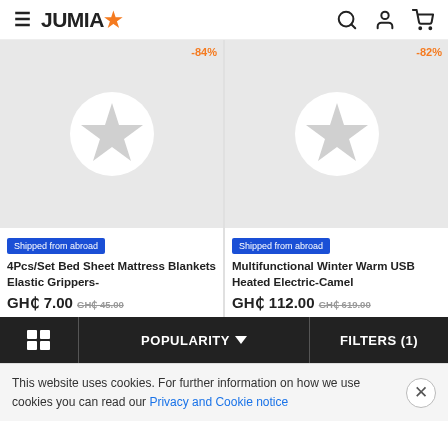JUMIA
[Figure (other): Product image placeholder with star icon, discount badge -84%]
[Figure (other): Product image placeholder with star icon, discount badge -82%]
Shipped from abroad
4Pcs/Set Bed Sheet Mattress Blankets Elastic Grippers-
GH₵ 7.00 GH₵ 45.00
Shipped from abroad
Multifunctional Winter Warm USB Heated Electric-Camel
GH₵ 112.00 GH₵ 619.00
POPULARITY
FILTERS (1)
This website uses cookies. For further information on how we use cookies you can read our Privacy and Cookie notice